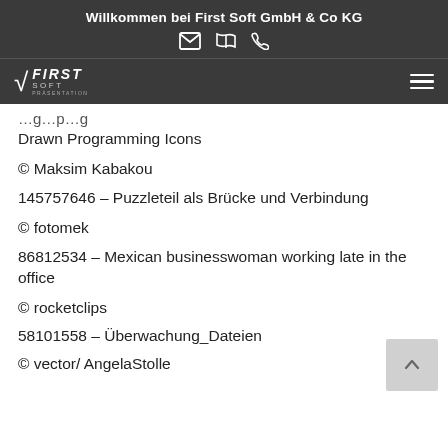Willkommen bei First Soft GmbH & Co KG
[Figure (logo): First Soft GmbH & Co KG logo with navigation icons (envelope, map, phone) in dark header bar]
Drawn Programming Icons
© Maksim Kabakou
145757646 – Puzzleteil als Brücke und Verbindung
© fotomek
86812534 – Mexican businesswoman working late in the office
© rocketclips
58101558 – Überwachung_Dateien
© vector/ AngelaStolle